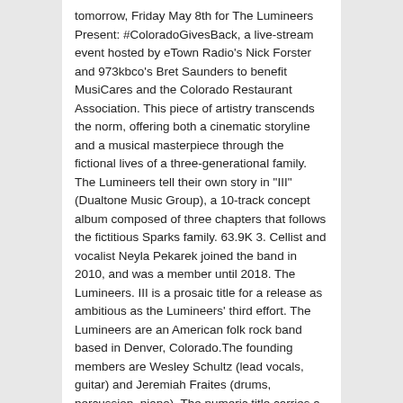tomorrow, Friday May 8th for The Lumineers Present: #ColoradoGivesBack, a live-stream event hosted by eTown Radio's Nick Forster and 973kbco's Bret Saunders to benefit MusiCares and the Colorado Restaurant Association. This piece of artistry transcends the norm, offering both a cinematic storyline and a musical masterpiece through the fictional lives of a three-generational family. The Lumineers tell their own story in "III" (Dualtone Music Group), a 10-track concept album composed of three chapters that follows the fictitious Sparks family. 63.9K 3. Cellist and vocalist Neyla Pekarek joined the band in 2010, and was a member until 2018. The Lumineers. III is a prosaic title for a release as ambitious as the Lumineers' third effort. The Lumineers are an American folk rock band based in Denver, Colorado.The founding members are Wesley Schultz (lead vocals, guitar) and Jeremiah Fraites (drums, percussion, piano). The numeric title carries a double meaning: the album is a song cycle told in three parts, with the first two available as a digital EP prior to the September 2019 release of III.Through these three chapters, the Lumineers tell a tale of the long-lasting ramifications of addiction and co-dependence. The